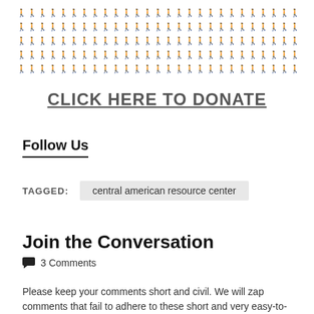[Figure (illustration): A grid of small grey human figure icons arranged in 5 rows, representing a crowd of people.]
CLICK HERE TO DONATE
Follow Us
TAGGED: central american resource center
Join the Conversation
3 Comments
Please keep your comments short and civil. We will zap comments that fail to adhere to these short and very easy-to-